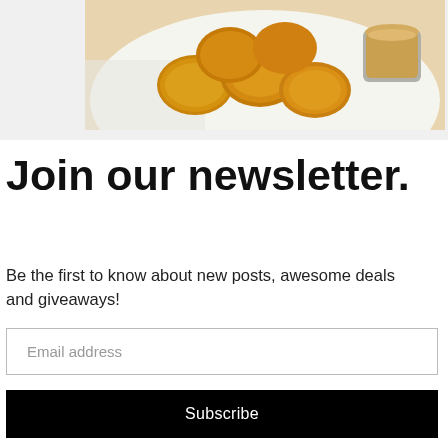[Figure (photo): Fried chicken nuggets with dipping sauce on a plate, partially visible at top of page]
Join our newsletter.
Be the first to know about new posts, awesome deals and giveaways!
Email address
Subscribe
[Figure (infographic): Advertisement banner: Maaco logo with text 'With Maaco And Our Magic, Your Car Is No Longer Tragic!' and a blue arrow sign icon]